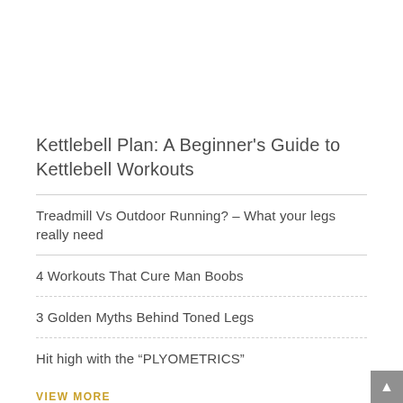Kettlebell Plan: A Beginner's Guide to Kettlebell Workouts
Treadmill Vs Outdoor Running? – What your legs really need
4 Workouts That Cure Man Boobs
3 Golden Myths Behind Toned Legs
Hit high with the “PLYOMETRICS”
VIEW MORE
LASTEST BUSINESS WEBSITE BUILDER